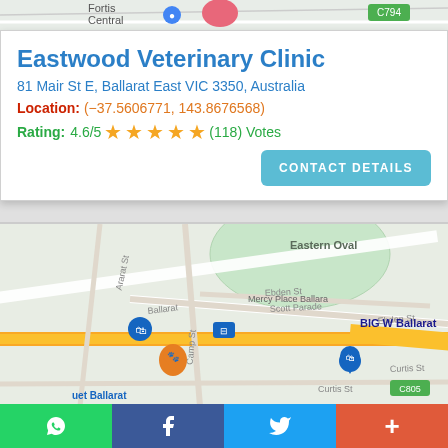[Figure (map): Top partial map showing Ballarat area with route markers and C794 road label]
Eastwood Veterinary Clinic
81 Mair St E, Ballarat East VIC 3350, Australia
Location: (−37.5606771, 143.8676568)
Rating: 4.6/5 ★★★★★ (118) Votes
CONTACT DETAILS
[Figure (map): Google map of Ballarat showing Eastern Oval, Scott Parade, Ebden St, Curtis St, BIG W Ballarat, Mercy Place Ballarat, Camp St, Ararat St, C805 road label, and various map pins]
Social share bar: WhatsApp, Facebook, Twitter, More